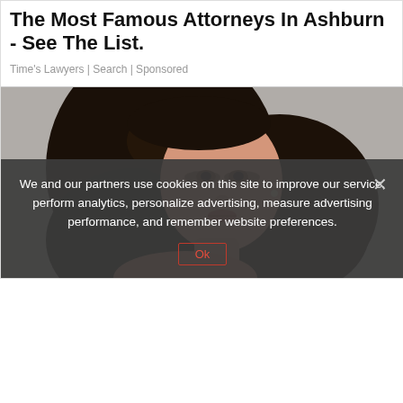The Most Famous Attorneys In Ashburn - See The List.
Time's Lawyers | Search | Sponsored
[Figure (photo): Portrait photo of a young woman with long, voluminous dark hair, wearing off-shoulder attire, posed against a grey background.]
We and our partners use cookies on this site to improve our service, perform analytics, personalize advertising, measure advertising performance, and remember website preferences.